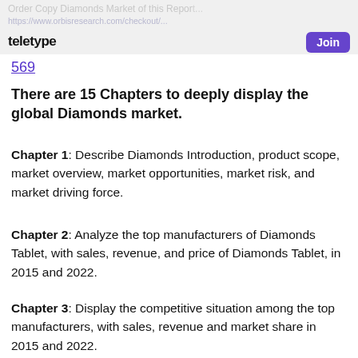Order Copy Diamonds Market of this Report — https://www.orbisresearch.com/checkout/...
569
There are 15 Chapters to deeply display the global Diamonds market.
Chapter 1: Describe Diamonds Introduction, product scope, market overview, market opportunities, market risk, and market driving force.
Chapter 2: Analyze the top manufacturers of Diamonds Tablet, with sales, revenue, and price of Diamonds Tablet, in 2015 and 2022.
Chapter 3: Display the competitive situation among the top manufacturers, with sales, revenue and market share in 2015 and 2022.